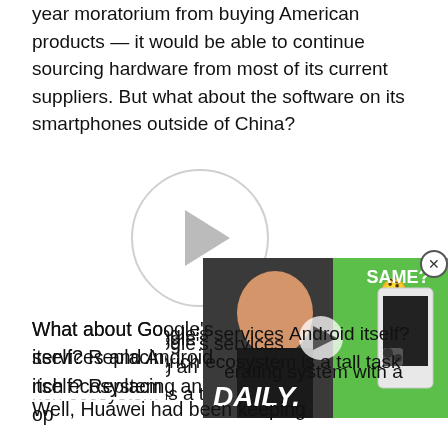year moratorium from buying American products — it would be able to continue sourcing hardware from most of its current suppliers. But what about the software on its smartphones outside of China?
[Figure (other): Video thumbnail placeholder with a circular play button (light gray circle with a play triangle inside)]
What about Google's services and Android itself? Replacing an operating system with a rich ecosystem is a tall task to do...
[Figure (screenshot): Floating video overlay showing a man in a black shirt with a thinking face emoji, white smartphone visible, green background, text 'SAME?' and 'DAILY.' overlaid. A play button is visible in the center. A close (X) button in a circle is at the top-right corner.]
Well, Huawei had been keeping an OS on the back burner — in fact, we know it had been working since 2016 to build one as a counter to Google's considerations to delist it on some of their third-party app stores.